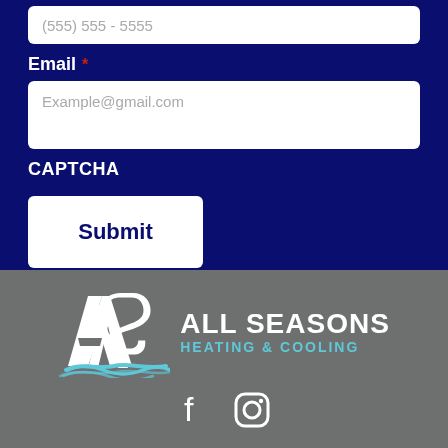(555) 555 - 5555
Email *
Example@gmail.com
CAPTCHA
Submit
[Figure (logo): All Seasons Heating & Cooling logo with AS initials and wave graphic]
[Figure (other): Social media icons: Facebook and Instagram]